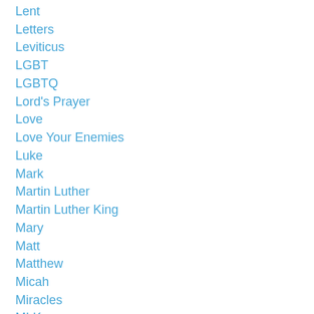Lent
Letters
Leviticus
LGBT
LGBTQ
Lord's Prayer
Love
Love Your Enemies
Luke
Mark
Martin Luther
Martin Luther King
Mary
Matt
Matthew
Micah
Miracles
MLK
Moses
Mothers
Music